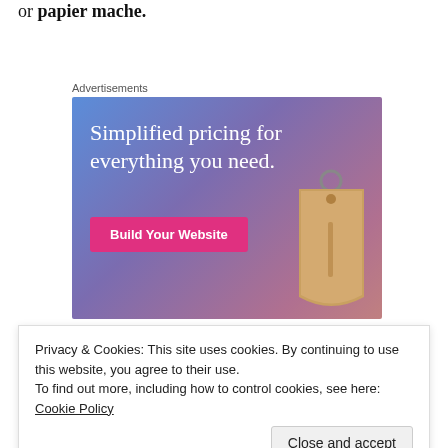or papier mache.
Advertisements
[Figure (infographic): Advertisement banner with gradient blue-purple-pink background. Text reads 'Simplified pricing for everything you need.' with a pink 'Build Your Website' button and a tan/beige price tag graphic on the right.]
Privacy & Cookies: This site uses cookies. By continuing to use this website, you agree to their use.
To find out more, including how to control cookies, see here: Cookie Policy
Close and accept
display which were representative of the area in